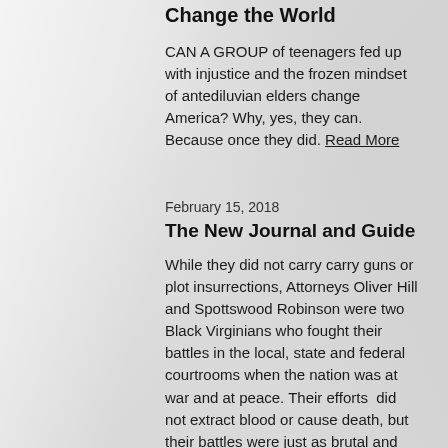Change the world
CAN A GROUP of teenagers fed up with injustice and the frozen mindset of antediluvian elders change America? Why, yes, they can. Because once they did. Read More
February 15, 2018
The New Journal and Guide
While they did not carry carry guns or plot insurrections, Attorneys Oliver Hill and Spottswood Robinson were two Black Virginians who fought their battles in the local, state and federal courtrooms when the nation was at war and at peace. Their efforts  did not extract blood or cause death, but  their battles were just as brutal and demanding of their talents. . .Read more.